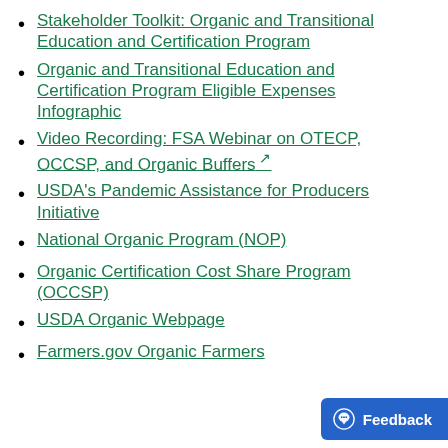Stakeholder Toolkit: Organic and Transitional Education and Certification Program
Organic and Transitional Education and Certification Program Eligible Expenses Infographic
Video Recording: FSA Webinar on OTECP, OCCSP, and Organic Buffers
USDA's Pandemic Assistance for Producers Initiative
National Organic Program (NOP)
Organic Certification Cost Share Program (OCCSP)
USDA Organic Webpage
Farmers.gov Organic Farmers